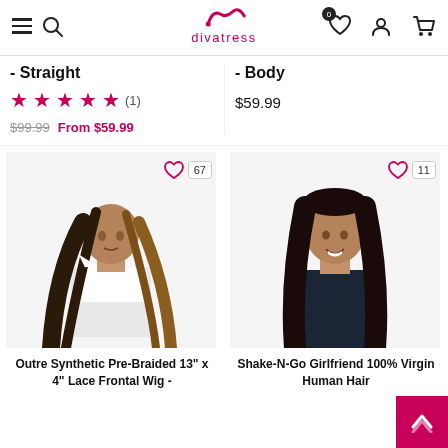divatress navigation header with hamburger, search, logo, wishlist, account, cart
- Straight
★★★★★ (1)
$99.99  From $59.99
- Body
$59.99
[Figure (photo): Model with long braided ombre hair wearing white crop top]
67
[Figure (photo): Model with straight dark hair wearing dark velvet top]
11
Outre Synthetic Pre-Braided 13" x 4" Lace Frontal Wig -
Shake-N-Go Girlfriend 100% Virgin Human Hair